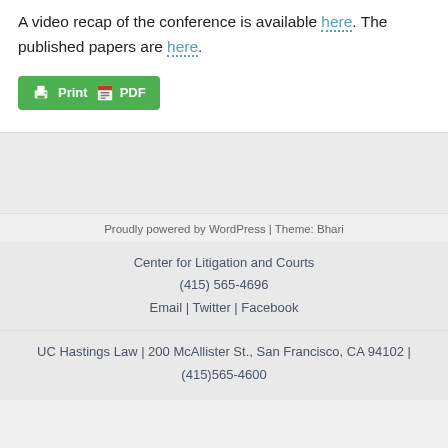A video recap of the conference is available here. The published papers are here.
[Figure (other): Green Print PDF button with printer and PDF icons]
Proudly powered by WordPress | Theme: Bhari
Center for Litigation and Courts
(415) 565-4696
Email | Twitter | Facebook
UC Hastings Law | 200 McAllister St., San Francisco, CA 94102 | (415)565-4600